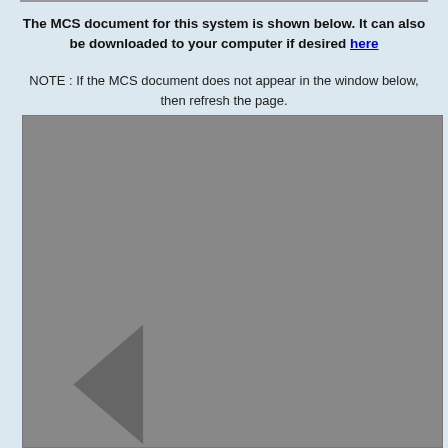The MCS document for this system is shown below. It can also be downloaded to your computer if desired here
NOTE : If the MCS document does not appear in the window below, then refresh the page.
[Figure (screenshot): A grey rectangular area representing an embedded document viewer/iframe with a left-pointing triangle arrow on the left side, indicating a navigation or scroll control.]